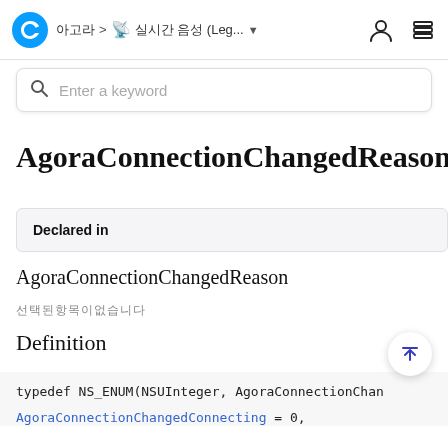아고라 > 실시간 음성 (Leg... AgoraConnectionChangedReason
Enter a keyword
AgoraConnectionChangedReason
| Declared in |
| --- |
AgoraConnectionChangedReason
선택된항목이없습니다
Definition
AgoraConnectionChangedConnecting = 0,